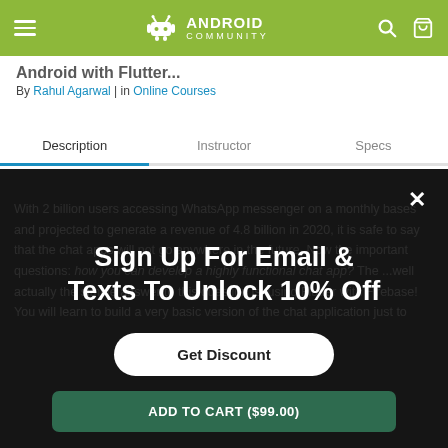Android Community — navigation header with hamburger menu, logo, search and cart icons
Android with Flutter
By Rahul Agarwal | in Online Courses
Description | Instructor | Specs
With 2 billion users accessing WhatsApp messenger on a monthly bases and projected to generate a revenue of 4.8 billion in 2020, it is safe to say that the chatapps will not go anywhere in the future. Now the important questions: how you can develop a highly functional chat app? The ...well actually the simple answer to this question is: using Flutter with Firebase! You will learn to build a very basic version of the chat application just to
Sign Up For Email & Texts To Unlock 10% Off
Get Discount
ADD TO CART ($99.00)